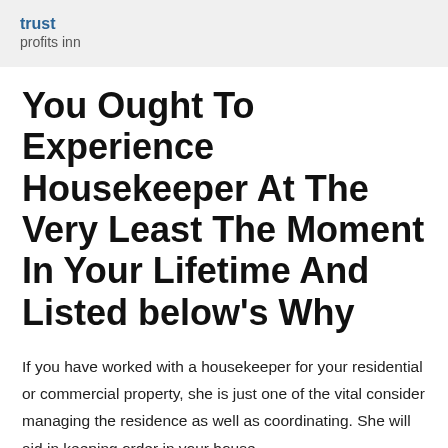trust
profits inn
You Ought To Experience Housekeeper At The Very Least The Moment In Your Lifetime And Listed below’s Why
If you have worked with a housekeeper for your residential or commercial property, she is just one of the vital consider managing the residence as well as coordinating. She will aid in keeping order in your house,